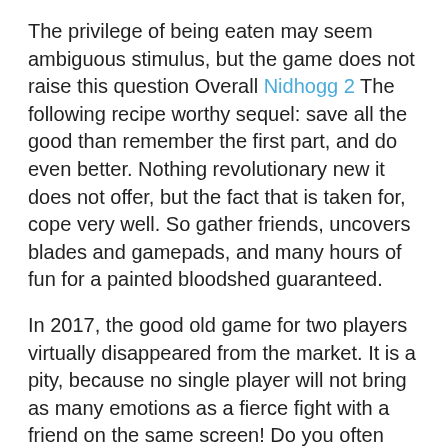The privilege of being eaten may seem ambiguous stimulus, but the game does not raise this question Overall Nidhogg 2 The following recipe worthy sequel: save all the good than remember the first part, and do even better. Nothing revolutionary new it does not offer, but the fact that is taken for, cope very well. So gather friends, uncovers blades and gamepads, and many hours of fun for a painted bloodshed guaranteed.
In 2017, the good old game for two players virtually disappeared from the market. It is a pity, because no single player will not bring as many emotions as a fierce fight with a friend on the same screen! Do you often play in the company?
RELATED POSTS:
A Thousand and One Deaths: Unto The End